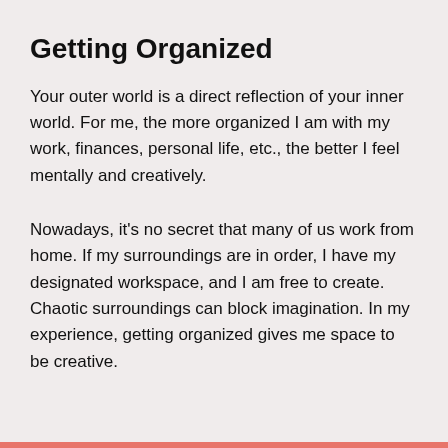Getting Organized
Your outer world is a direct reflection of your inner world. For me, the more organized I am with my work, finances, personal life, etc., the better I feel mentally and creatively.
Nowadays, it's no secret that many of us work from home. If my surroundings are in order, I have my designated workspace, and I am free to create. Chaotic surroundings can block imagination. In my experience, getting organized gives me space to be creative.